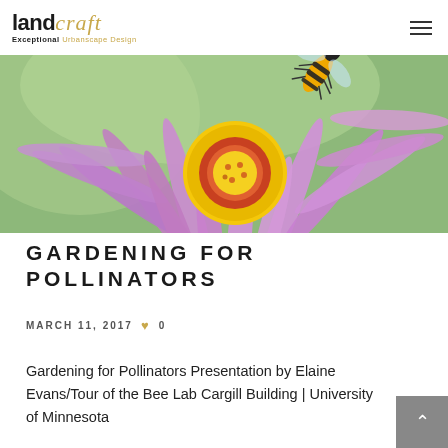landcraft Exceptional Urbanscape Design
[Figure (photo): Close-up photo of a bee on a purple aster flower with a yellow center, on a green background]
GARDENING FOR POLLINATORS
MARCH 11, 2017 ♥ 0
Gardening for Pollinators Presentation by Elaine Evans/Tour of the Bee Lab Cargill Building | University of Minnesota